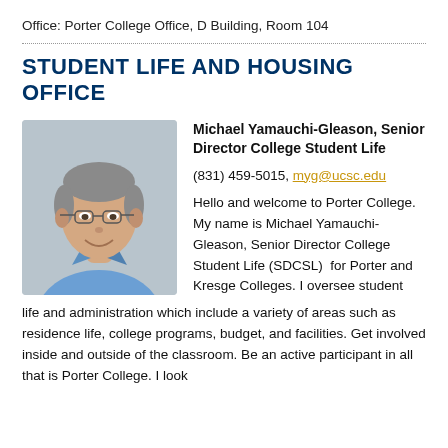Office: Porter College Office, D Building, Room 104
STUDENT LIFE AND HOUSING OFFICE
[Figure (photo): Headshot photo of Michael Yamauchi-Gleason, a middle-aged man with glasses wearing a blue shirt, smiling, against a grey background.]
Michael Yamauchi-Gleason, Senior Director College Student Life
(831) 459-5015, myg@ucsc.edu
Hello and welcome to Porter College. My name is Michael Yamauchi-Gleason, Senior Director College Student Life (SDCSL)  for Porter and Kresge Colleges. I oversee student life and administration which include a variety of areas such as residence life, college programs, budget, and facilities. Get involved inside and outside of the classroom. Be an active participant in all that is Porter College. I look